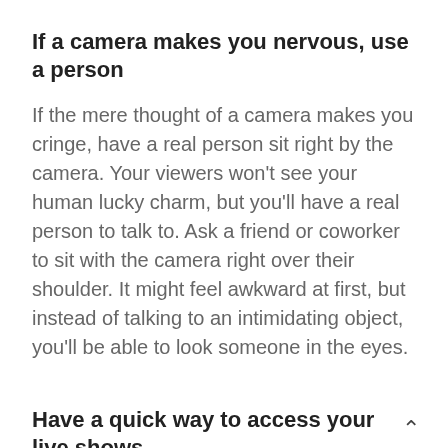If a camera makes you nervous, use a person
If the mere thought of a camera makes you cringe, have a real person sit right by the camera. Your viewers won't see your human lucky charm, but you'll have a real person to talk to. Ask a friend or coworker to sit with the camera right over their shoulder. It might feel awkward at first, but instead of talking to an intimidating object, you'll be able to look someone in the eyes.
Have a quick way to access your live shows
Sometimes the hardest thing is for someone to find a live stream. Make it easy...